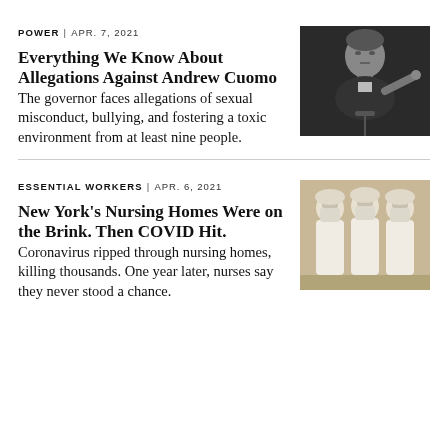POWER | APR. 7, 2021
Everything We Know About Allegations Against Andrew Cuomo
The governor faces allegations of sexual misconduct, bullying, and fostering a toxic environment from at least nine people.
[Figure (photo): Black and white photo of a man speaking at a microphone, pointing with his finger]
ESSENTIAL WORKERS | APR. 6, 2021
New York's Nursing Homes Were on the Brink. Then COVID Hit.
Coronavirus ripped through nursing homes, killing thousands. One year later, nurses say they never stood a chance.
[Figure (photo): Color photo of three nurses or healthcare workers in white protective gear and masks standing together]